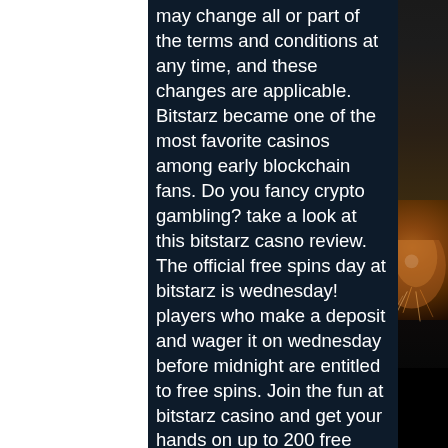may change all or part of the terms and conditions at any time, and these changes are applicable. Bitstarz became one of the most favorite casinos among early blockchain fans. Do you fancy crypto gambling? take a look at this bitstarz casno review. The official free spins day at bitstarz is wednesday! players who make a deposit and wager it on wednesday before midnight are entitled to free spins. Join the fun at bitstarz casino and get your hands on up to 200 free spins. This free spin bonus consists of 20 no deposit free spins and up to. Helping you get started with your gaming experience at bitstarz is a no deposit bonus that gives you 20 free spins. The free spins are available to you. Players looking to get in on the fun without investing any funds can start off with the no deposit bonus. This promotion awards players a total of 20 free spins. Before you even start, bitstarz will